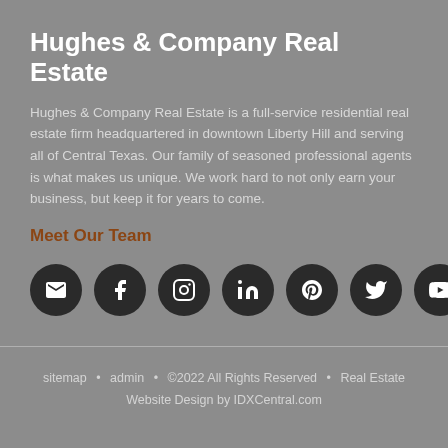Hughes & Company Real Estate
Hughes & Company Real Estate is a full-service residential real estate firm headquartered in downtown Liberty Hill and serving all of Central Texas. Our family of seasoned professional agents is what makes us unique. We work hard to not only earn your business, but keep it for years to come.
Meet Our Team
[Figure (infographic): Row of 7 circular dark social media icon buttons: email, Facebook, Instagram, LinkedIn, Pinterest, Twitter, YouTube]
sitemap • admin • ©2022 All Rights Reserved • Real Estate Website Design by IDXCentral.com